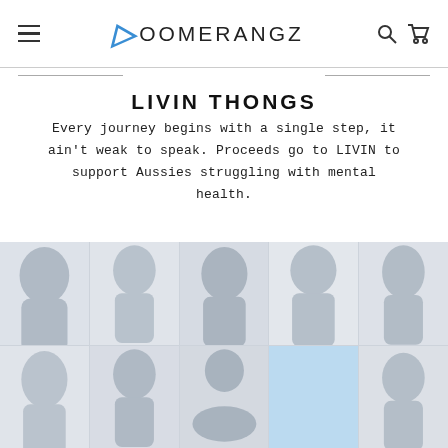BOOMERANGZ
LIVIN THONGS
Every journey begins with a single step, it ain't weak to speak. Proceeds go to LIVIN to support Aussies struggling with mental health.
[Figure (photo): Grid of product/lifestyle photos showing thong sandals and people, arranged in a 5-column by 2-row mosaic grid with muted blue-grey tones. One cell has a light blue overlay.]